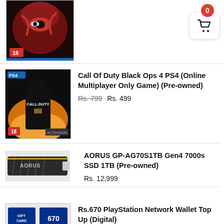[Figure (screenshot): Shopping cart icon with red badge showing 0, top right corner]
[Figure (photo): God of War PS4 game cover (partially visible, top of page)]
Call Of Duty Black Ops 4 PS4 (Online Multiplayer Only Game) (Pre-owned)
Rs. 799 Rs. 499
[Figure (photo): Call of Duty Black Ops 4 PS4 game cover with PS4 logo and age rating 18]
AORUS GP-AG70S1TB Gen4 7000s SSD 1TB (Pre-owned)
Rs. 12,999
[Figure (photo): AORUS NVMe SSD product image, black with silver accents]
Rs.670 PlayStation Network Wallet Top Up (Digital)